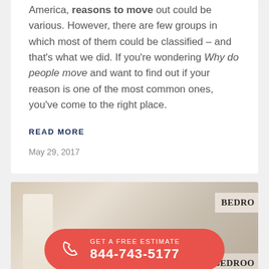America, reasons to move out could be various. However, there are few groups in which most of them could be classified – and that's what we did. If you're wondering Why do people move and want to find out if your reason is one of the most common ones, you've come to the right place.
READ MORE
May 29, 2017
[Figure (photo): Moving boxes labeled BEDROOM with lamps and furniture in background, overlaid with a red CTA button reading GET A FREE ESTIMATE 844-743-5177]